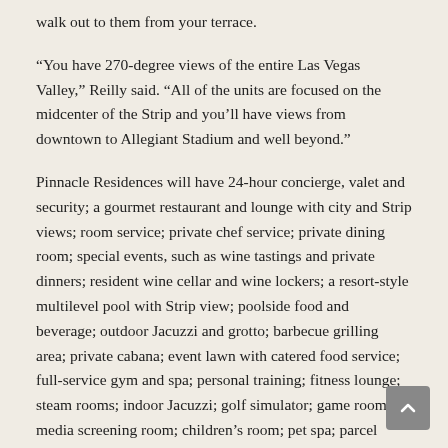walk out to them from your terrace.
“You have 270-degree views of the entire Las Vegas Valley,” Reilly said. “All of the units are focused on the midcenter of the Strip and you’ll have views from downtown to Allegiant Stadium and well beyond.”
Pinnacle Residences will have 24-hour concierge, valet and security; a gourmet restaurant and lounge with city and Strip views; room service; private chef service; private dining room; special events, such as wine tastings and private dinners; resident wine cellar and wine lockers; a resort-style multilevel pool with Strip view; poolside food and beverage; outdoor Jacuzzi and grotto; barbecue grilling area; private cabana; event lawn with catered food service; full-service gym and spa; personal training; fitness lounge; steam rooms; indoor Jacuzzi; golf simulator; game room; media screening room; children’s room; pet spa; parcel acceptance; boardroom and meeting spaces; and library.
The project will have four hotel guest suites that condo owners can use when they have friends and family visit. They